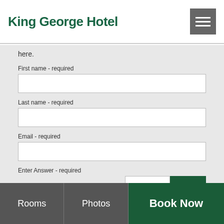King George Hotel
here.
First name - required
Last name - required
Email - required
Enter Answer - required
Go
Rooms | Photos | Book Now